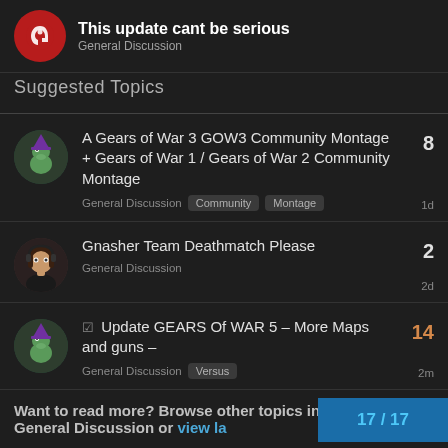This update cant be serious
General Discussion
Suggested Topics
A Gears of War 3 GOW3 Community Montage + Gears of War 1 / Gears of War 2 Community Montage
General Discussion  Community  Montage
8 replies  1d
Gnasher Team Deathmatch Please
General Discussion
2 replies  2d
✓ Update GEARS Of WAR 5 – More Maps and guns –
General Discussion  Versus
14 replies  2m
Want to read more? Browse other topics in General Discussion or view la…
17 / 17